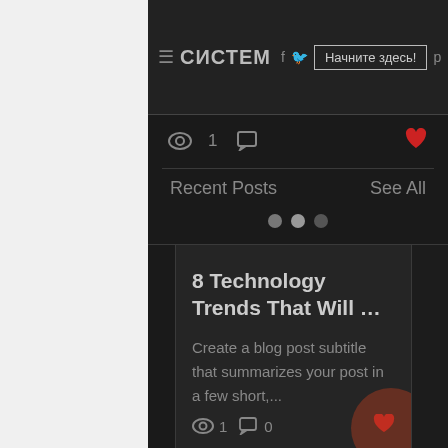≡ СИСТЕМ  Начните здесь  ≡
👁 1  💬
Recent Posts
See All
8 Technology Trends That Will …
Create a blog post subtitle that summarizes your post in a few short,...
👁 1  💬 0